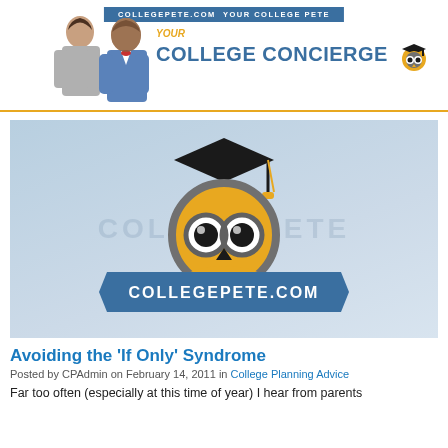COLLEGEPETE.COM — YOUR COLLEGE CONCIERGE
[Figure (logo): CollegePete.com logo featuring an owl with graduation cap in a light blue banner, centered on a light blue background with watermark text]
Avoiding the 'If Only' Syndrome
Posted by CPAdmin on February 14, 2011 in College Planning Advice
Far too often (especially at this time of year) I hear from parents